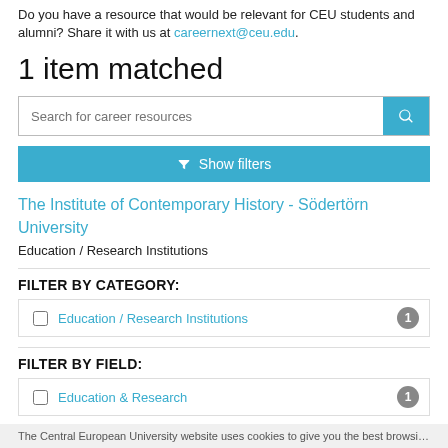Do you have a resource that would be relevant for CEU students and alumni? Share it with us at careernext@ceu.edu.
1 item matched
Search for career resources
Show filters
The Institute of Contemporary History - Södertörn University
Education / Research Institutions
FILTER BY CATEGORY:
Education / Research Institutions  1
FILTER BY FIELD:
Education & Research  1
The Central European University website uses cookies to give you the best browsing experience, by continuing you agree to our use of cookies.